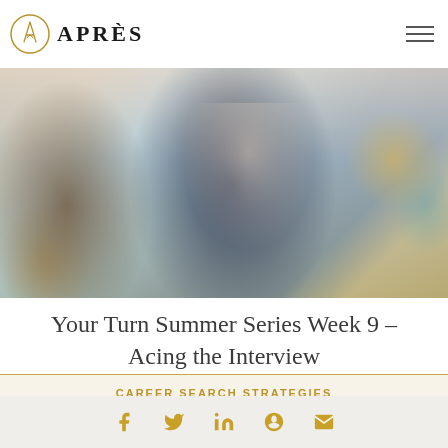APRÈS
[Figure (photo): Blurred office scene with a smiling woman in a dark top in the foreground and colleagues in background]
Your Turn Summer Series Week 9 – Acing the Interview
CAREER SEARCH STRATEGIES
[Figure (other): Social media share icons: Facebook, Twitter, LinkedIn, Pinterest, Email in gold color]